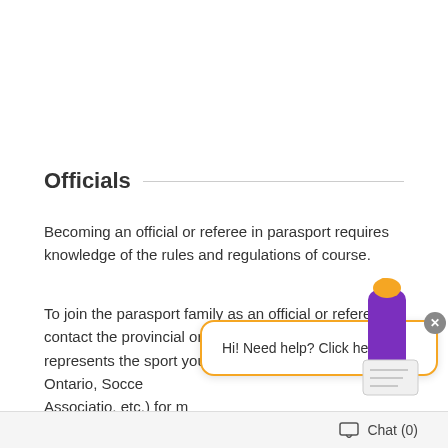Officials
Becoming an official or referee in parasport requires knowledge of the rules and regulations of course.
To join the parasport family as an official or referee, contact the provincial or multi-sport organization that represents the sport you're interested in (i.e. Swim Ontario, Soccer Nova Scotia, Canadian Blind Sports Associatio, etc.) for more information on training and certification.
[Figure (screenshot): Chat widget overlay with orange border showing 'Hi! Need help? Click here.' message bubble, a close button, and an illustrated character (arm in purple sleeve with yellow glove). A chat bar at the bottom reads 'Chat (0)'.]